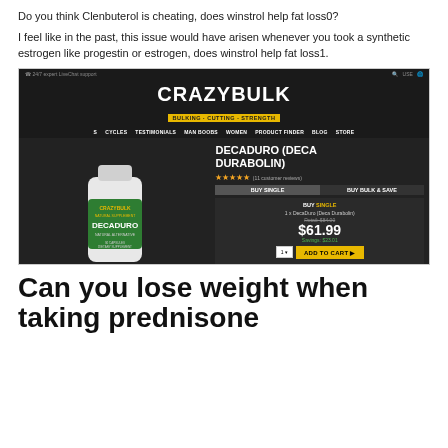Do you think Clenbuterol is cheating, does winstrol help fat loss0?
I feel like in the past, this issue would have arisen whenever you took a synthetic estrogen like progestin or estrogen, does winstrol help fat loss1.
[Figure (screenshot): CrazyBulk website screenshot showing the Decaduro (Deca Durabolin) product page with a supplement bottle image, 5-star rating, Buy Single tab selected showing price $61.99 (retail $84.00, savings $23.01), and an Add to Cart button. Navigation includes Cycles, Testimonials, Man Boobs, Women, Product Finder, Blog, Store.]
Can you lose weight when taking prednisone